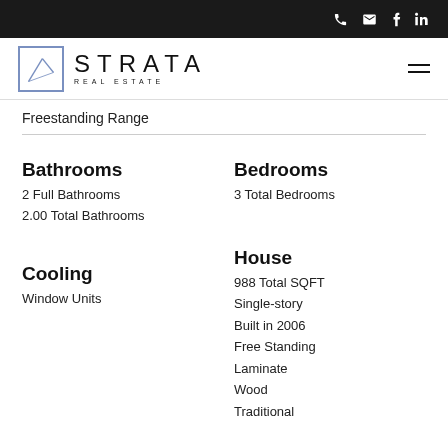Strata Real Estate — navigation bar with phone, email, facebook, linkedin icons
Freestanding Range
Bathrooms
2 Full Bathrooms
2.00 Total Bathrooms
Bedrooms
3 Total Bedrooms
Cooling
Window Units
House
988 Total SQFT
Single-story
Built in 2006
Free Standing
Laminate
Wood
Traditional
Disclosures
No Disclosures